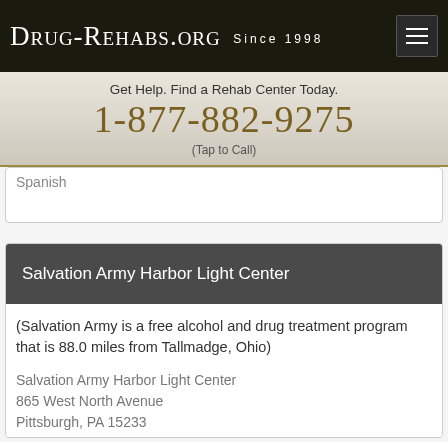Drug-Rehabs.org Since 1998
Get Help. Find a Rehab Center Today.
1-877-882-9275
(Tap to Call)
Spanish
Salvation Army Harbor Light Center
(Salvation Army is a free alcohol and drug treatment program that is 88.0 miles from Tallmadge, Ohio)

Salvation Army Harbor Light Center
865 West North Avenue
Pittsburgh, PA 15233